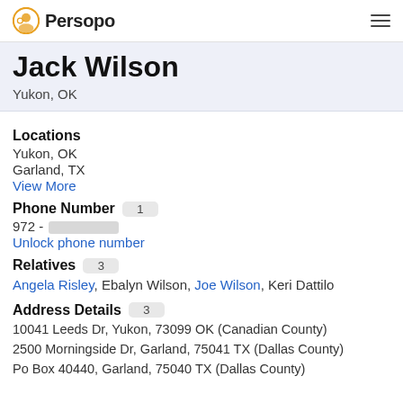Persopo
Jack Wilson
Yukon, OK
Locations
Yukon, OK
Garland, TX
View More
Phone Number 1
972 - [redacted]
Unlock phone number
Relatives 3
Angela Risley, Ebalyn Wilson, Joe Wilson, Keri Dattilo
Address Details 3
10041 Leeds Dr, Yukon, 73099 OK (Canadian County)
2500 Morningside Dr, Garland, 75041 TX (Dallas County)
Po Box 40440, Garland, 75040 TX (Dallas County)